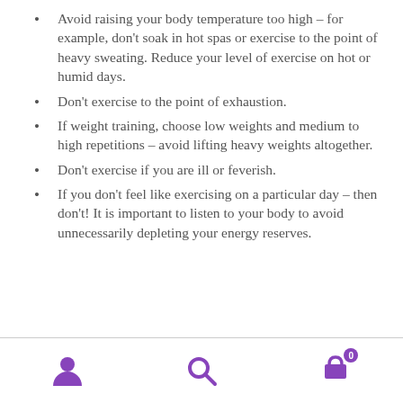Avoid raising your body temperature too high – for example, don't soak in hot spas or exercise to the point of heavy sweating. Reduce your level of exercise on hot or humid days.
Don't exercise to the point of exhaustion.
If weight training, choose low weights and medium to high repetitions – avoid lifting heavy weights altogether.
Don't exercise if you are ill or feverish.
If you don't feel like exercising on a particular day – then don't! It is important to listen to your body to avoid unnecessarily depleting your energy reserves.
Navigation bar with user, search, and cart icons